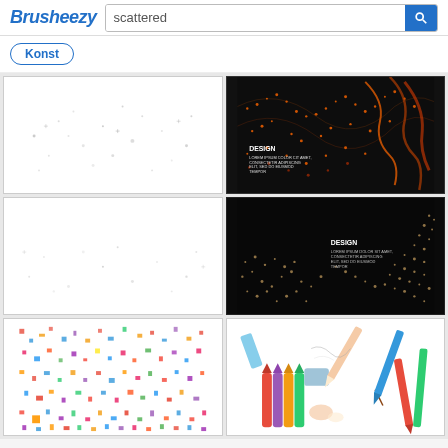Brusheezy — scattered search results page
Konst
[Figure (screenshot): White background with scattered small grey dots and cross marks pattern]
[Figure (illustration): Dark background with orange scattered dot wave pattern and DESIGN text overlay]
[Figure (screenshot): White background with very sparse scattered tiny grey dots pattern]
[Figure (illustration): Dark background with golden/beige scattered dot wave pattern and DESIGN text overlay]
[Figure (illustration): White background scattered with colorful confetti-like squares and rectangles in blue, red, orange, yellow, pink]
[Figure (illustration): Illustration of colored pencils, crayons, eraser and pencil shavings on white background]